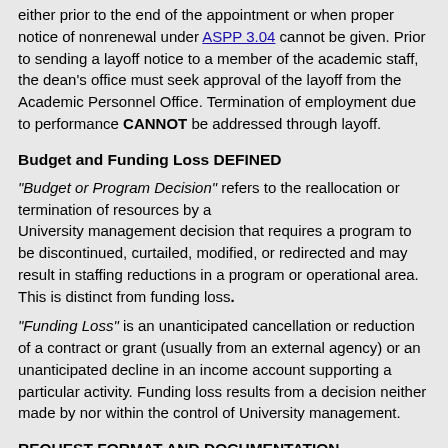either prior to the end of the appointment or when proper notice of nonrenewal under ASPP 3.04 cannot be given. Prior to sending a layoff notice to a member of the academic staff, the dean's office must seek approval of the layoff from the Academic Personnel Office. Termination of employment due to performance CANNOT be addressed through layoff.
Budget and Funding Loss DEFINED
“Budget or Program Decision” refers to the reallocation or termination of resources by a University management decision that requires a program to be discontinued, curtailed, modified, or redirected and may result in staffing reductions in a program or operational area. This is distinct from funding loss.
“Funding Loss” is an unanticipated cancellation or reduction of a contract or grant (usually from an external agency) or an unanticipated decline in an income account supporting a particular activity. Funding loss results from a decision neither made by nor within the control of University management.
REQUEST FORMAT AND DOCUMENTATION
All anticipated layoffs must be reviewed, in advance, by the Academic Personnel Office. The review and approval must occur before any proposed layoff is announced or implemented. In order to review the layoff request, the dean/director’s office needs to submit the following documentation to the Academic Personnel Office.
1. Layoff review form (signed by the chair and reviewed by the